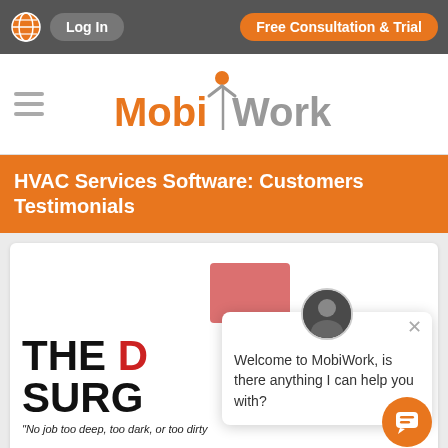Log In | Free Consultation & Trial
[Figure (logo): MobiWork logo with orange figure person icon and stylized text]
HVAC Services Software: Customers Testimonials
[Figure (screenshot): Company logo showing THE D / SURG text with tagline 'No job too deep, too dark, or too dirty' and chat popup overlay saying 'Welcome to MobiWork, is there anything I can help you with?']